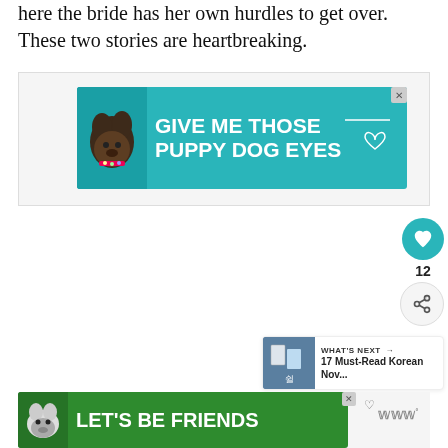here the bride has her own hurdles to get over. These two stories are heartbreaking.
[Figure (screenshot): Advertisement banner: teal/cyan background with dog image and text 'GIVE ME THOSE PUPPY DOG EYES' with heart and line decorations]
[Figure (screenshot): Social media UI elements: teal heart/like button with count 12, and share button]
[Figure (screenshot): What's Next recommendation card with thumbnail and text '17 Must-Read Korean Nov...']
[Figure (screenshot): Advertisement banner: green background with husky dog image and text 'LET'S BE FRIENDS', with Goodreads logo on right]